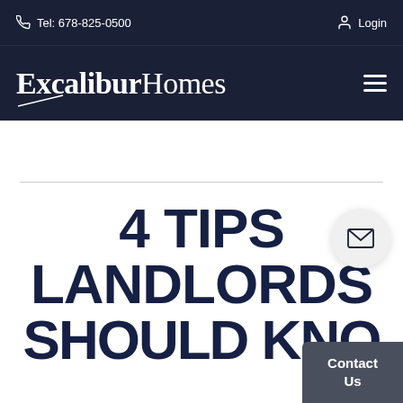Tel: 678-825-0500   Login
[Figure (logo): ExcaliburHomes logo with stylized sword graphic, white text on dark navy background]
4 TIPS LANDLORDS SHOULD KNOW